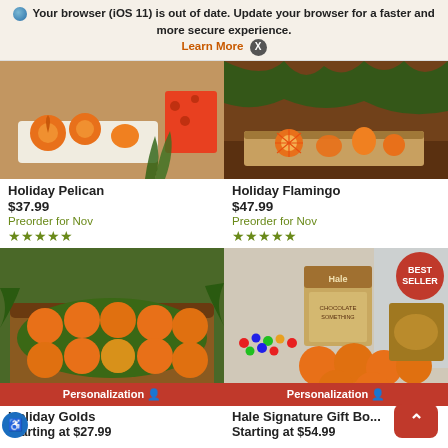Your browser (iOS 11) is out of date. Update your browser for a faster and more secure experience. Learn More X
[Figure (photo): Holiday Pelican product photo - oranges on white plate with holiday packaging]
Holiday Pelican
$37.99
Preorder for Nov
★★★★★
[Figure (photo): Holiday Flamingo product photo - oranges on wooden tray with greenery]
Holiday Flamingo
$47.99
Preorder for Nov
★★★★★
[Figure (photo): Holiday Golds product photo - basket of tangerines with personalization option]
Holiday Golds
Starting at $27.99
[Figure (photo): Hale Signature Gift Box product photo - oranges, chocolate and nuts gift set with BEST SELLER badge and personalization option]
Hale Signature Gift Bo...
Starting at $54.99